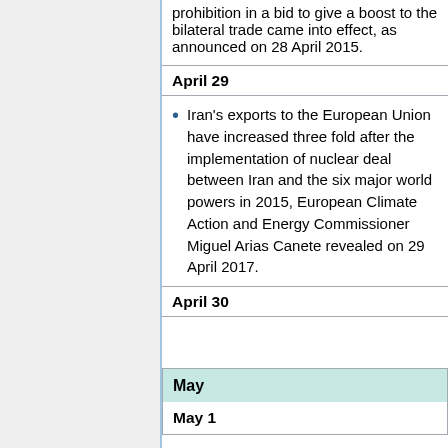prohibition in a bid to give a boost to the bilateral trade came into effect, as announced on 28 April 2015.
April 29
Iran's exports to the European Union have increased three fold after the implementation of nuclear deal between Iran and the six major world powers in 2015, European Climate Action and Energy Commissioner Miguel Arias Canete revealed on 29 April 2017.
April 30
May
May 1